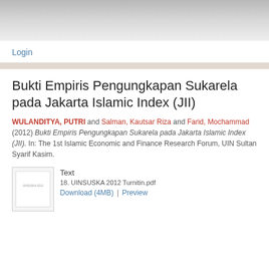Login
Bukti Empiris Pengungkapan Sukarela pada Jakarta Islamic Index (JII)
WULANDITYA, PUTRI and Salman, Kautsar Riza and Farid, Mochammad (2012) Bukti Empiris Pengungkapan Sukarela pada Jakarta Islamic Index (JII). In: The 1st Islamic Economic and Finance Research Forum, UIN Sultan Syarif Kasim.
Text
18. UINSUSKA 2012 Turnitin.pdf
Download (4MB) | Preview